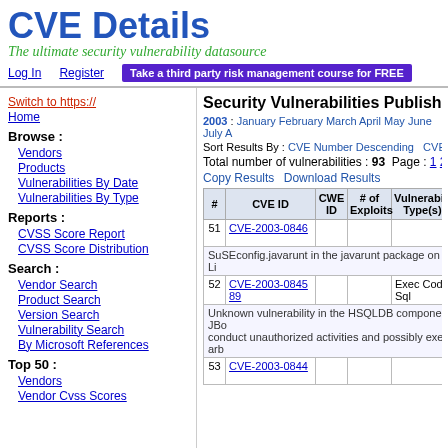CVE Details
The ultimate security vulnerability datasource
Log In   Register   Take a third party risk management course for FREE
Switch to https://
Home
Browse :
Vendors
Products
Vulnerabilities By Date
Vulnerabilities By Type
Reports :
CVSS Score Report
CVSS Score Distribution
Search :
Vendor Search
Product Search
Version Search
Vulnerability Search
By Microsoft References
Top 50 :
Vendors
Vendor Cvss Scores
Security Vulnerabilities Published In
2003 : January February March April May June July A...
Sort Results By : CVE Number Descending   CVE Number Asc...
Total number of vulnerabilities : 93   Page : 1  2  (This Pa...
Copy Results  Download Results
| # | CVE ID | CWE ID | # of Exploits | Vulnerability Type(s) |  |
| --- | --- | --- | --- | --- | --- |
| 51 | CVE-2003-0846 |  |  |  | 2... 1... |
|  | SuSEconfig.javarunt in the javarunt package on SuSE Li... |  |  |  |  |
| 52 | CVE-2003-0845 89 |  | Exec Code Sql |  | 2... 1... |
|  | Unknown vulnerability in the HSQLDB component in JBo... conduct unauthorized activities and possibly execute arb... |  |  |  |  |
| 53 | CVE-2003-0844 |  |  |  | 2... 1... |